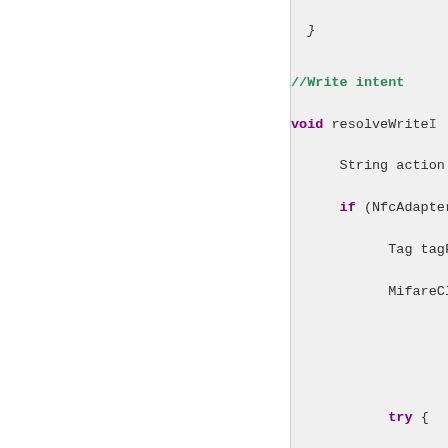[Figure (screenshot): Code editor screenshot showing Java/Android NFC code. Left panel is white (blank/hidden). Right panel shows code snippet with comments and keywords in color syntax highlighting. Visible code includes: a closing brace, a comment '//Write intent', method 'void resolveWrite...', variables String action, if (NfcAdapter..., Tag tagFro..., MifareClas..., try { mfc.co..., boolean..., String..., int id..., int se..., int re..., int bl..., byte[]..., if (i...]